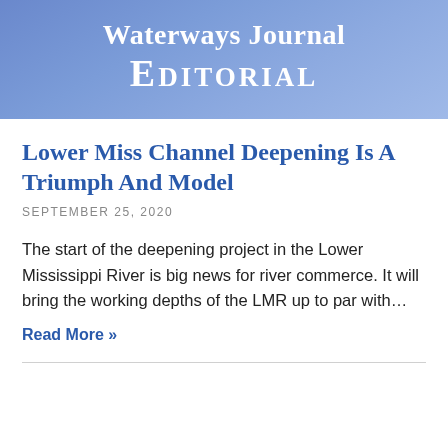Waterways Journal Editorial
Lower Miss Channel Deepening Is A Triumph And Model
SEPTEMBER 25, 2020
The start of the deepening project in the Lower Mississippi River is big news for river commerce. It will bring the working depths of the LMR up to par with…
Read More »